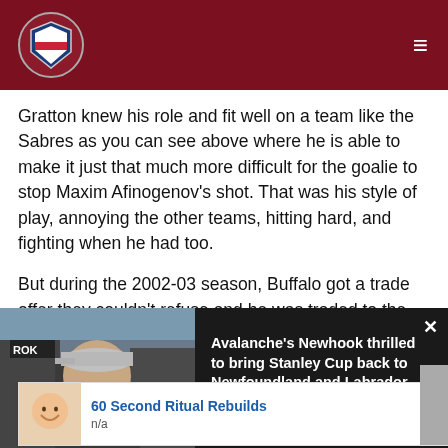THW
Gratton knew his role and fit well on a team like the Sabres as you can see above where he is able to make it just that much more difficult for the goalie to stop Maxim Afinogenov's shot. That was his style of play, annoying the other teams, hitting hard, and fighting when he had too.
But during the 2002-03 season, Buffalo got a trade offer they couldn't refuse and he was traded to the Phoenix Coyotes. He
[Figure (photo): Man wearing a baseball cap being interviewed outdoors with microphones]
Avalanche's Newhook thrilled to bring Stanley Cup back to Newfoundland and Labrador
[Figure (photo): Advertisement thumbnail showing a person smiling]
60 Second Ritual Rebuilds
n/a